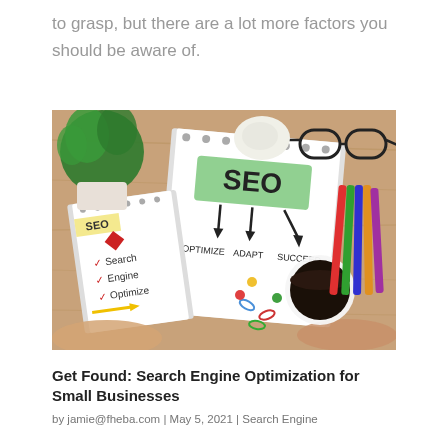to grasp, but there are a lot more factors you should be aware of.
[Figure (photo): Overhead view of a wooden desk with a notebook showing SEO diagram (Optimize, Adapt, Succeed with arrows), another notebook with SEO checklist, colored pencils, a cup of coffee, paper clips, eyeglasses, a plant, and hands of a person.]
Get Found: Search Engine Optimization for Small Businesses
by jamie@fheba.com | May 5, 2021 | Search Engine